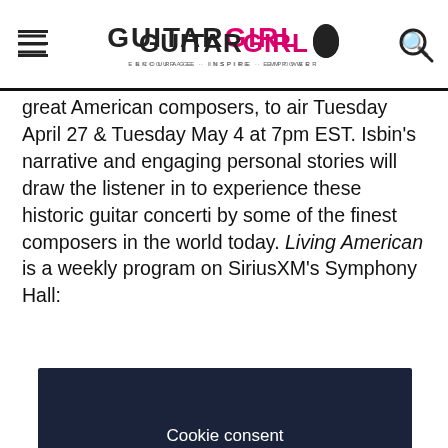Guitar Girl Magazine - Encourage. Inspire. Empower.
great American composers, to air Tuesday April 27 & Tuesday May 4 at 7pm EST. Isbin's narrative and engaging personal stories will draw the listener in to experience these historic guitar concerti by some of the finest composers in the world today. Living American is a weekly program on SiriusXM's Symphony Hall:
[Figure (screenshot): Cookie consent dialog box with dark background showing title 'Cookie consent', body text about cookies, and two buttons: 'Preferences' and 'Accept All']